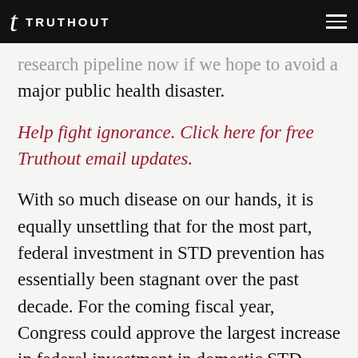t TRUTHOUT
research pipeline now if we hope to avoid a major public health disaster.
Help fight ignorance. Click here for free Truthout email updates.
With so much disease on our hands, it is equally unsettling that for the most part, federal investment in STD prevention has essentially been stagnant over the past decade. For the coming fiscal year, Congress could approve the largest increase in federal investment in domestic STD prevention in more than a decade.